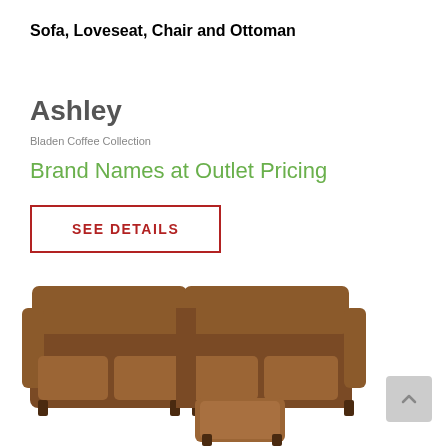Sofa, Loveseat, Chair and Ottoman
Ashley
Bladen Coffee Collection
Brand Names at Outlet Pricing
SEE DETAILS
[Figure (photo): Brown leather sectional sofa with ottoman from Ashley Bladen Coffee Collection]